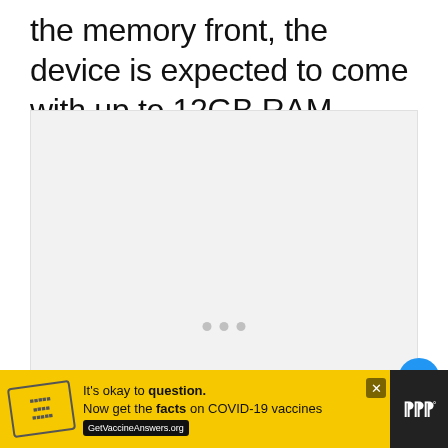the memory front, the device is expected to come with up to 12GB RAM.
[Figure (photo): Large light gray image placeholder with three small gray dots centered near the bottom, indicating a loading or empty image carousel.]
[Figure (infographic): Yellow advertisement banner at the bottom. Shows a stamp graphic on the left, text reading 'It's okay to question. Now get the facts on COVID-19 vaccines GetVaccineAnswers.org', a close button (X), and a dark W° logo on the far right.]